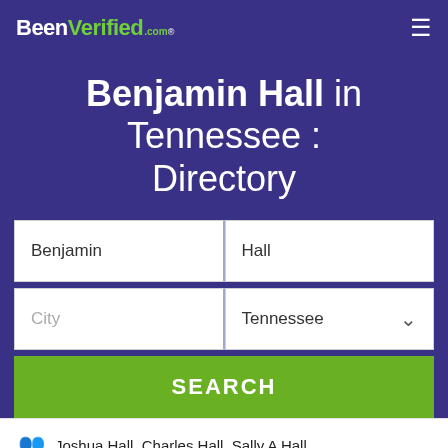BeenVerified.com
Benjamin Hall in Tennessee : Directory
Benjamin | Hall
City | Tennessee
SEARCH
Joshua Hall, Charles Hall, Sally A Hall
Benjamin D M H...